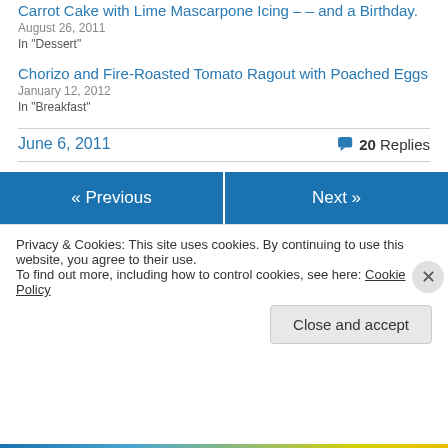Carrot Cake with Lime Mascarpone Icing – – and a Birthday.
August 26, 2011
In "Dessert"
Chorizo and Fire-Roasted Tomato Ragout with Poached Eggs
January 12, 2012
In "Breakfast"
June 6, 2011
20 Replies
« Previous
Next »
Privacy & Cookies: This site uses cookies. By continuing to use this website, you agree to their use.
To find out more, including how to control cookies, see here: Cookie Policy
Close and accept